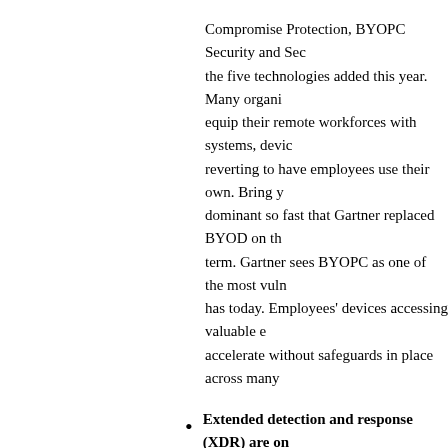Compromise Protection, BYOPC Security and Sec… the five technologies added this year. Many organi… equip their remote workforces with systems, devic… reverting to have employees use their own. Bring y… dominant so fast that Gartner replaced BYOD on th… term. Gartner sees BYOPC as one of the most vuln… has today. Employees' devices accessing valuable e… accelerate without safeguards in place across many…
Extended detection and response (XDR) are on… reflecting the trend of vendor consolidation acro… Gartner defines XDR as a vendor-specific, threat d… that unifies multiple security products into a securi… potential to reduce the total cost and complexity of… dominant theme throughout this year's Hype Cycle… integrated portfolios of detection and response app… prevention than stand-alone systems, driving down… increasing productivity. Key vendors in XDR inclu… Microsoft, Palo Alto Networks, Sophos, Symantec…
Business email compromise (BEC) protection is…